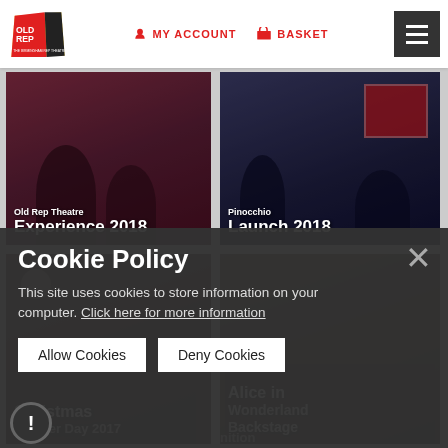MY ACCOUNT  BASKET
[Figure (screenshot): Old Rep Theatre website screenshot showing a 2x2 grid of video/image cards: (1) 'Old Rep Theatre Experience 2018', (2) 'Pinocchio Launch 2018', (3) 'Christmas Jumper Day 2017', (4) 'Alice in Wonderland Backstage']
Cookie Policy
This site uses cookies to store information on your computer. Click here for more information
Allow Cookies
Deny Cookies